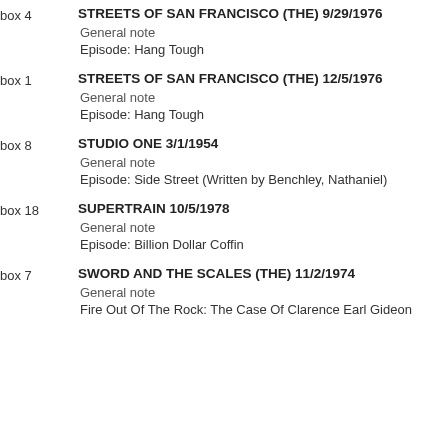box 4 | STREETS OF SAN FRANCISCO (THE) 9/29/1976 | General note | Episode: Hang Tough
box 1 | STREETS OF SAN FRANCISCO (THE) 12/5/1976 | General note | Episode: Hang Tough
box 8 | STUDIO ONE 3/1/1954 | General note | Episode: Side Street (Written by Benchley, Nathaniel)
box 18 | SUPERTRAIN 10/5/1978 | General note | Episode: Billion Dollar Coffin
box 7 | SWORD AND THE SCALES (THE) 11/2/1974 | General note | Fire Out Of The Rock: The Case Of Clarence Earl Gideon